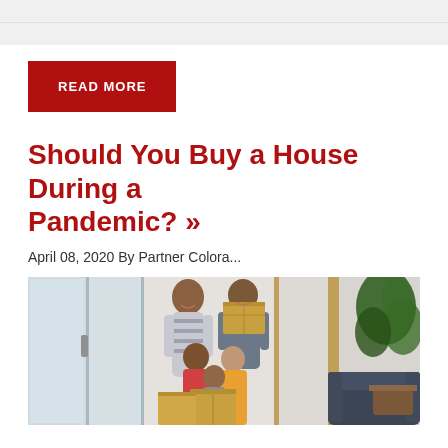[Figure (other): Gray bar / top navigation area]
READ MORE
Should You Buy a House During a Pandemic? »
April 08, 2020 By Partner Colora...
[Figure (photo): Photo of a happy family moving into a new home, unpacking cardboard boxes in a bright room with a sliding glass door on the left and a plant on the right.]